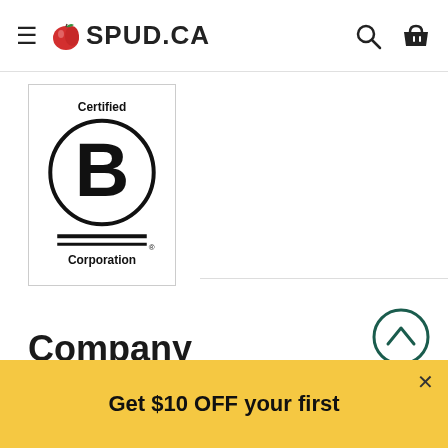SPUD.CA
[Figure (logo): Certified B Corporation logo — a circle with a large B inside, with 'Certified' above and 'Corporation' below, in a bordered white box]
Company
How it Works
Delivery Areas
Office Program
Careers
Media
Get $10 OFF your first